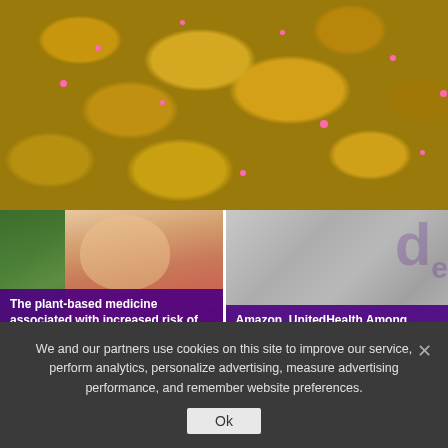[Figure (photo): Microscope image of yellow/orange SARS-CoV-2 virus particles with pink dots on dark background]
Fast and sensitive paper-based nucleic acid assay for SARS-CoV-2
24/08/2022
[Figure (photo): Left: green plant leaf; Right: elderly person holding chest in pain wearing red shirt]
The plant-based medicine associated with increased risk of heart disease
23/08/2022
[Figure (photo): Grey background with purple data visualization watermark]
Amazon, UnitedHealth Among Bidders for Signify Health
23/08/2022
We and our partners use cookies on this site to improve our service, perform analytics, personalize advertising, measure advertising performance, and remember website preferences.
Ok